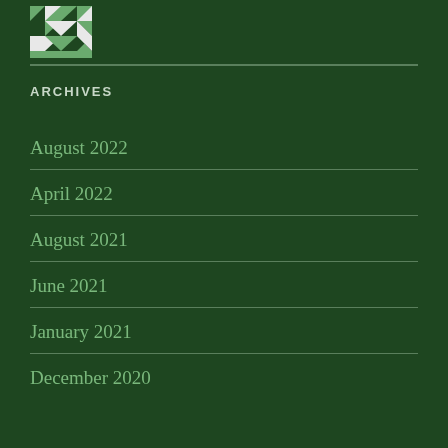[Figure (logo): Green and white geometric/quilt pattern logo in top left corner]
ARCHIVES
August 2022
April 2022
August 2021
June 2021
January 2021
December 2020